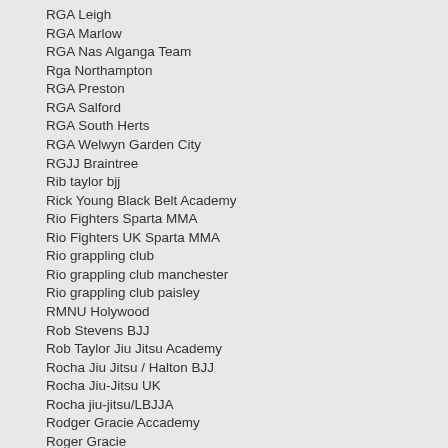RGA Leigh
RGA Marlow
RGA Nas Alganga Team
Rga Northampton
RGA Preston
RGA Salford
RGA South Herts
RGA Welwyn Garden City
RGJJ Braintree
Rib taylor bjj
Rick Young Black Belt Academy
Rio Fighters Sparta MMA
Rio Fighters UK Sparta MMA
Rio grappling club
Rio grappling club manchester
Rio grappling club paisley
RMNU Holywood
Rob Stevens BJJ
Rob Taylor Jiu Jitsu Academy
Rocha Jiu Jitsu / Halton BJJ
Rocha Jiu-Jitsu UK
Rocha jiu-jitsu/LBJJA
Rodger Gracie Accademy
Roger Gracie
Roger Gracie Academy
Roger Gracie Academy (Chester)
Roger gracie academy blackburn
Roger Gracie Academy Bolton
Roger Gracie Academy Buckinghamshire
Roger Gracie Academy Coventry